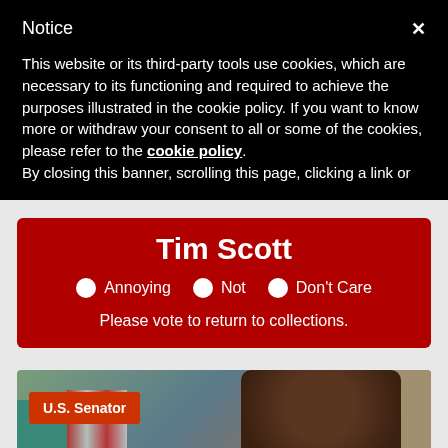Notice
This website or its third-party tools use cookies, which are necessary to its functioning and required to achieve the purposes illustrated in the cookie policy. If you want to know more or withdraw your consent to all or some of the cookies, please refer to the cookie policy. By closing this banner, scrolling this page, clicking a link or
Tim Scott
Annoying  Not  Don't Care
Please vote to return to collections.
[Figure (photo): Photo of Tim Scott, U.S. Senator, with a woman and an American flag in the background. A red badge reads 'U.S. Senator'.]